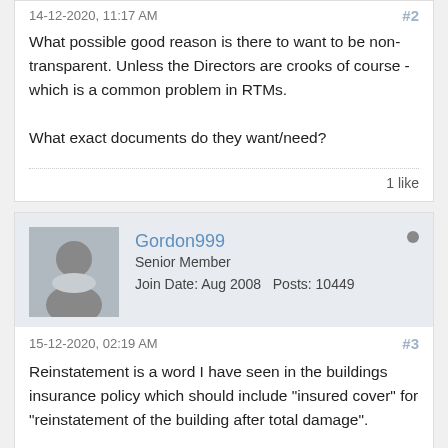14-12-2020, 11:17 AM   #2
What possible good reason is there to want to be non-transparent. Unless the Directors are crooks of course - which is a common problem in RTMs.

What exact documents do they want/need?
1 like
Gordon999
Senior Member
Join Date: Aug 2008   Posts: 10449
15-12-2020, 02:19 AM   #3
Reinstatement is a word I have seen in the buildings insurance policy which should include "insured cover" for "reinstatement of the building after total damage".

After issue of audited annual service charge accounts, leaseholders can make an appointment to inspect all the documents related to the service charge accounts and take